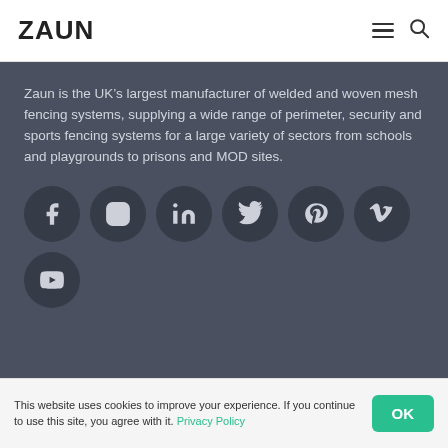ZAUN
Zaun is the UK’s largest manufacturer of welded and woven mesh fencing systems, supplying a wide range of perimeter, security and sports fencing systems for a large variety of sectors from schools and playgrounds to prisons and MOD sites.
[Figure (illustration): Social media icon buttons (Facebook, Instagram, LinkedIn, Twitter, Pinterest, Vimeo, YouTube) displayed as dark circular buttons on a dark grey background.]
This website uses cookies to improve your experience. If you continue to use this site, you agree with it. Privacy Policy | OK